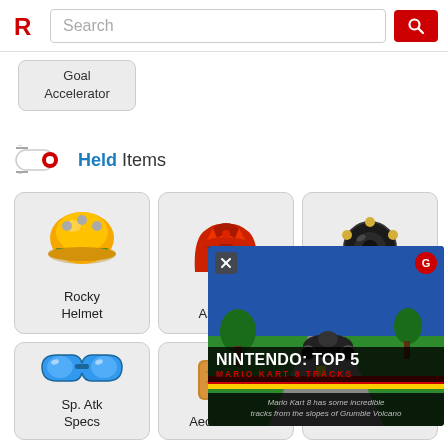Search
Goal
Accelerator
Held Items
[Figure (illustration): Rocky Helmet game item icon - yellow/orange helmet]
Rocky Helmet
[Figure (illustration): Assault Vest game item icon - red armor/vest]
Assault V
[Figure (illustration): Score Shield game item icon - black ring with gold nodes]
Score Shield
[Figure (illustration): Sp. Atk Specs game item icon - blue goggles/glasses]
Sp. Atk Specs
[Figure (illustration): Aeos Cookie game item icon - brown cookie with icing]
Aeos Cookie
[Figure (screenshot): Nintendo Top 5 Mario Kart 8 Tracks ad overlay with racing scene. Text: NINTENDO: TOP 5 MARIO KART 8 TRACKS. Mario Kart 8 has some incredible tracks from the slopes of Grumble Volcano]